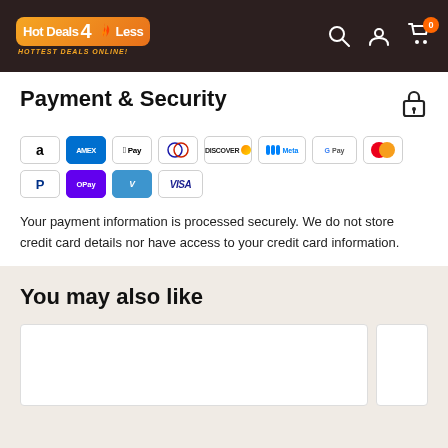[Figure (logo): Hot Deals 4 Less logo with flame icon on dark brown header, with search, account, and cart icons on the right]
Payment & Security
[Figure (infographic): Payment method icons: Amazon, Amex, Apple Pay, Diners Club, Discover, Meta Pay, Google Pay, Mastercard, PayPal, O Pay, Venmo, Visa]
Your payment information is processed securely. We do not store credit card details nor have access to your credit card information.
You may also like
[Figure (photo): Two product card placeholders, partially visible]